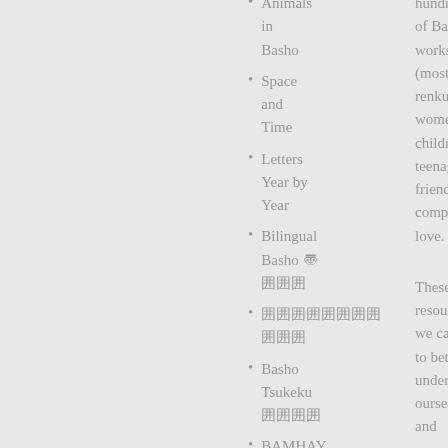Animals in Basho
Space and Time
Letters Year by Year
Bilingual Basho 〠囲囲
囲囲囲囲囲囲囲囲囲囲囲
Basho Tsukeku 囲囲囲囲
BAMHAY (Basho Amazes
hundreds of Basho works (mostly renku)about women, children, teenagers, friendship, compassion, love.
These are resources we can use to better understand ourselves and